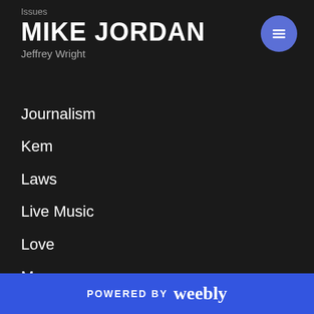Issues
MIKE JORDAN
Jeffrey Wright
Journalism
Kem
Laws
Live Music
Love
Maze
Media
Mistaken Identity
Mixtapes
POWERED BY weebly